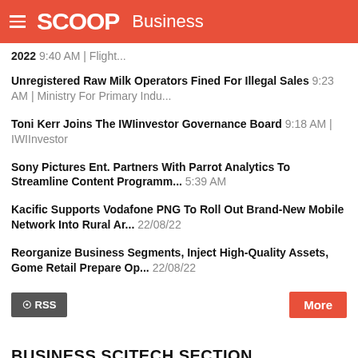SCOOP Business
2022 9:40 AM | Flight...
Unregistered Raw Milk Operators Fined For Illegal Sales 9:23 AM | Ministry For Primary Indu...
Toni Kerr Joins The IWIinvestor Governance Board 9:18 AM | IWIInvestor
Sony Pictures Ent. Partners With Parrot Analytics To Streamline Content Programm... 5:39 AM
Kacific Supports Vodafone PNG To Roll Out Brand-New Mobile Network Into Rural Ar... 22/08/22
Reorganize Business Segments, Inject High-Quality Assets, Gome Retail Prepare Op... 22/08/22
BUSINESS SCITECH SECTION
BUSINESS